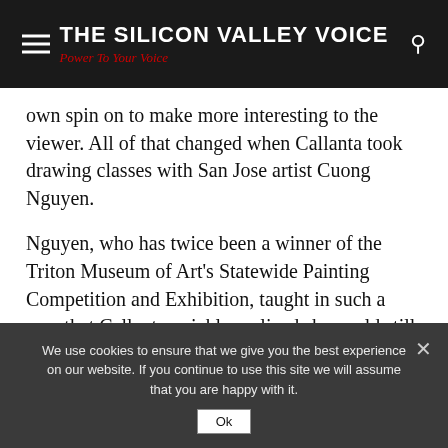THE SILICON VALLEY VOICE
Power To Your Voice
own spin on to make more interesting to the viewer. All of that changed when Callanta took drawing classes with San Jose artist Cuong Nguyen.
Nguyen, who has twice been a winner of the Triton Museum of Art's Statewide Painting Competition and Exhibition, taught in such a way that Callanta quickly realized she could still put her artistic touches on realistic drawings and still speak to the viewer.
Callanta then began her new body of work: facial masks strategically named after X-Files episodes, using herself, husband and friends as her initial models. The masks, done in
We use cookies to ensure that we give you the best experience on our website. If you continue to use this site we will assume that you are happy with it.